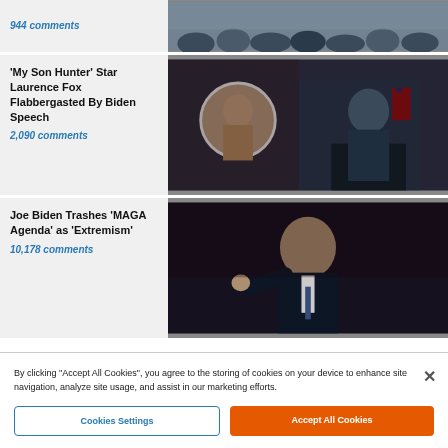944 comments
[Figure (photo): Crowd scene photo at top of page (partially cropped)]
'My Son Hunter' Star Laurence Fox Flabbergasted By Biden Speech
2,090 comments
[Figure (photo): Photo of Laurence Fox inset circle over Biden at podium with US flags]
Joe Biden Trashes 'MAGA Agenda' as 'Extremism'
10,178 comments
[Figure (photo): Photo of Joe Biden pointing finger at event with dark background]
FROM THE HOMEPAGE
By clicking "Accept All Cookies", you agree to the storing of cookies on your device to enhance site navigation, analyze site usage, and assist in our marketing efforts.
Cookies Settings
Accept All Cookies